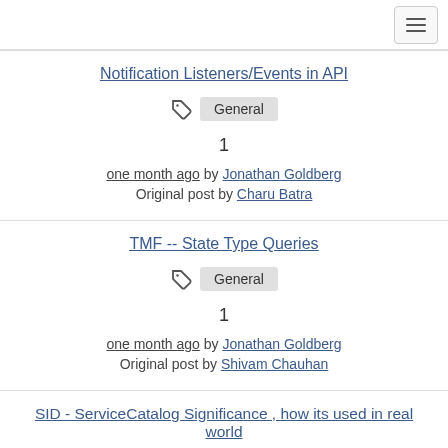Navigation bar with hamburger menu icon
Notification Listeners/Events in API
General
1
one month ago by Jonathan Goldberg Original post by Charu Batra
TMF -- State Type Queries
General
1
one month ago by Jonathan Goldberg Original post by Shivam Chauhan
SID - ServiceCatalog Significance , how its used in real world